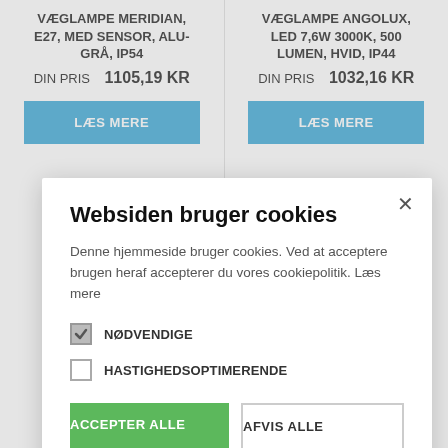VÆGLAMPE MERIDIAN, E27, MED SENSOR, ALU-GRÅ, IP54
DIN PRIS   1105,19 KR
VÆGLAMPE ANGOLUX, LED 7,6W 3000K, 500 LUMEN, HVID, IP44
DIN PRIS   1032,16 KR
LÆS MERE
LÆS MERE
Websiden bruger cookies
Denne hjemmeside bruger cookies. Ved at acceptere brugen heraf accepterer du vores cookiepolitik. Læs mere
NØDVENDIGE
HASTIGHEDSOPTIMERENDE
ACCEPTER ALLE
AFVIS ALLE